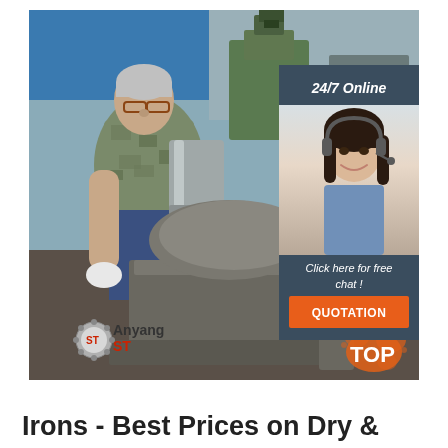[Figure (photo): Industrial factory scene showing a worker operating metal pressing/forging machinery. An older man with glasses wearing a patterned shirt and work gloves is working on a heavy metal press or punch machine. Background shows a factory workshop with green machinery. Overlaid in the top-right corner is a '24/7 Online' customer service widget featuring a smiling woman with a headset and a 'QUOTATION' button. Bottom-left has the 'Anyang ST' logo and bottom-right has a 'TOP' logo.]
Irons - Best Prices on Dry &